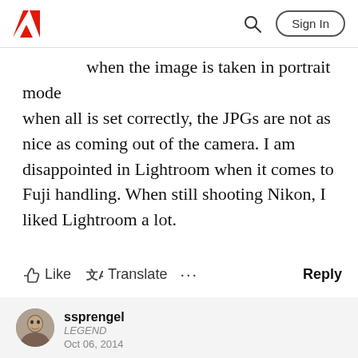Adobe | Sign In
when the image is taken in portrait mode when all is set correctly, the JPGs are not as nice as coming out of the camera. I am disappointed in Lightroom when it comes to Fuji handling. When still shooting Nikon, I liked Lightroom a lot.
Like  Translate  ...  Reply
ssprengel
LEGEND
Oct 06, 2014
The Adobe raw conversion engine doesn’t convert things with as much detail as some other software or the camera, itself.